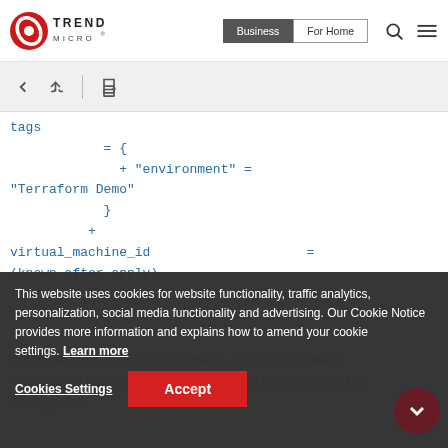Trend Micro | Business | For Home
[Figure (screenshot): Trend Micro website header with logo, Business/For Home nav buttons, search and menu icons]
[Figure (screenshot): Toolbar with back arrow, share, and print icons on a light grey background]
tags
            = {
              + "environment" =
"Terraform Demo"
            }
          +
virtual_machine_id                    =
(known after apply)
This website uses cookies for website functionality, traffic analytics, personalization, social media functionality and advertising. Our Cookie Notice provides more information and explains how to amend your cookie settings. Learn more
Notice when running this command, it clearly identifies deprecated functionality you can see this in the second line through the